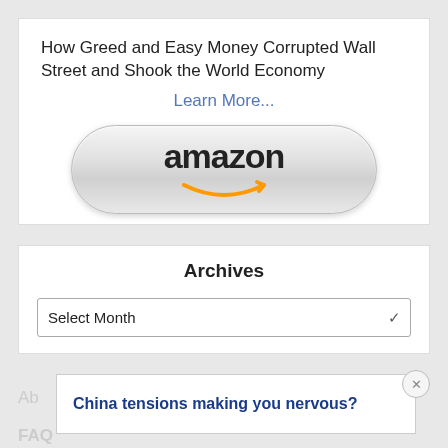How Greed and Easy Money Corrupted Wall Street and Shook the World Economy
Learn More...
[Figure (logo): Amazon logo button with orange smile arrow, pill-shaped gray button]
Archives
Select Month
Ab
FAQ
China tensions making you nervous?